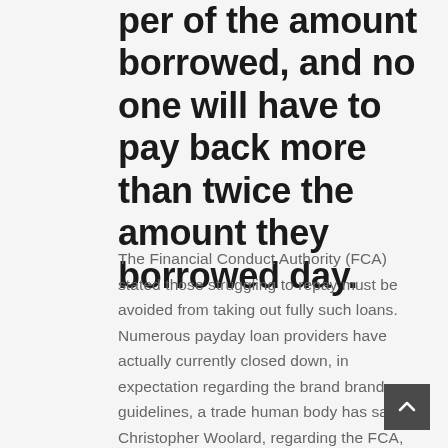per of the amount borrowed, and no one will have to pay back more than twice the amount they borrowed day.
The Financial Conduct Authority (FCA) stated those struggling to repay must be avoided from taking out fully such loans. Numerous payday loan providers have actually currently closed down, in expectation regarding the brand brand new guidelines, a trade human body has said. Christopher Woolard, regarding the FCA, stated the regulator had taken action since it had been clear that payday advances was indeed pushing some individuals into unmanageable debt. For anyone people taking out fully pay day loans, they must be in a position to borrow more cheaply from today, but in addition we